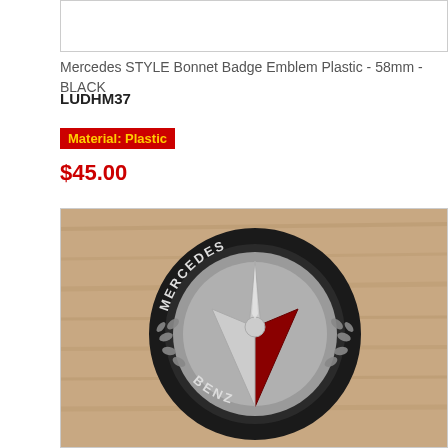[Figure (photo): Top portion of product image (partially visible/cropped) with light background]
Mercedes STYLE Bonnet Badge Emblem Plastic - 58mm - BLACK
LUDHM37
Material: Plastic
$45.00
[Figure (photo): Photo of a Mercedes-Benz bonnet badge emblem in black plastic with silver three-pointed star and laurel wreath design, MERCEDES text at top and BENZ at bottom, placed on a wooden surface]